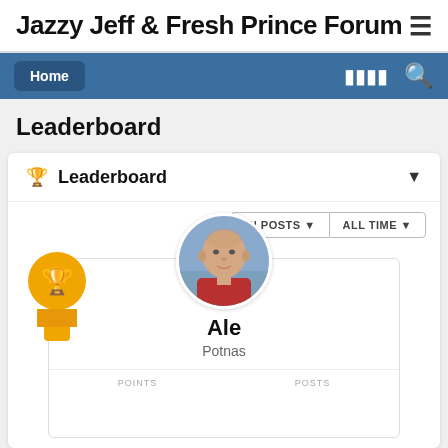Jazzy Jeff & Fresh Prince Forum
Leaderboard
🏆 Leaderboard
IN POSTS ▾   ALL TIME ▾
[Figure (photo): Profile photo of user Ale, a bald man wearing a red shirt, outdoors near water]
Ale
Potnas
POINTS   POSTS